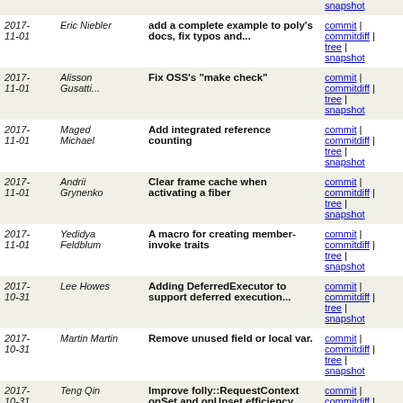| Date | Author | Message | Links |
| --- | --- | --- | --- |
| 2017-11-01 | Eric Niebler | add a complete example to poly's docs, fix typos and... | commit | commitdiff | tree | snapshot |
| 2017-11-01 | Alisson Gusatti... | Fix OSS's "make check" | commit | commitdiff | tree | snapshot |
| 2017-11-01 | Maged Michael | Add integrated reference counting | commit | commitdiff | tree | snapshot |
| 2017-11-01 | Andrii Grynenko | Clear frame cache when activating a fiber | commit | commitdiff | tree | snapshot |
| 2017-11-01 | Yedidya Feldblum | A macro for creating member-invoke traits | commit | commitdiff | tree | snapshot |
| 2017-10-31 | Lee Howes | Adding DeferredExecutor to support deferred execution... | commit | commitdiff | tree | snapshot |
| 2017-10-31 | Martin Martin | Remove unused field or local var. | commit | commitdiff | tree | snapshot |
| 2017-10-31 | Teng Qin | Improve folly::RequestContext onSet and onUnset efficiency | commit | commitdiff | tree | snapshot |
| 2017-10-31 | Teng Qin | Improve folly::RequestContext::get() | commit | commitdiff | tree | snapshot |
| 2017-10-31 | Alex Guzman | Add utility function for loading certificates from... | commit | commitdiff | tree | snapshot |